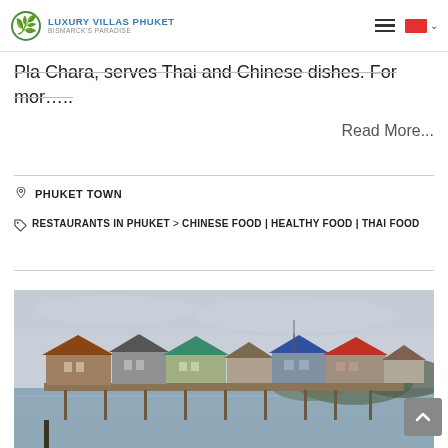Luxury Villas Phuket – Bismarck's Paradise
Pla Chara, serves Thai and Chinese dishes. For mor…..
Read More...
PHUKET TOWN
RESTAURANTS IN PHUKET > CHINESE FOOD | HEALTHY FOOD | THAI FOOD
[Figure (photo): Waterfront floating restaurants on stilts over a bay, with colorful roofed structures and hills in the background under an overcast sky.]